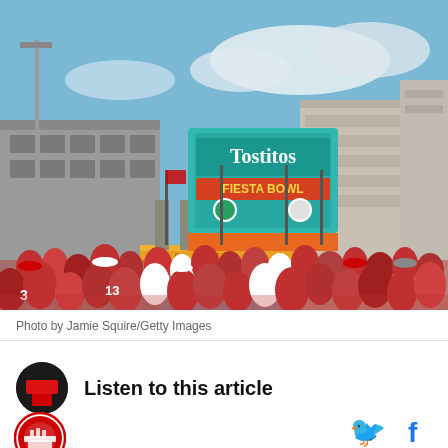[Figure (photo): Crowd of fans in red jerseys gathered outside a stadium entrance with a large Tostitos Fiesta Bowl sign/billboard visible above. Stadium structure and parking garage visible in background under blue sky.]
Photo by Jamie Squire/Getty Images
Listen to this article
[Figure (logo): Circular red logo/badge for a sports publication or team site]
[Figure (other): Twitter bird icon (social share button) in blue]
[Figure (other): Facebook f icon (social share button) in blue]